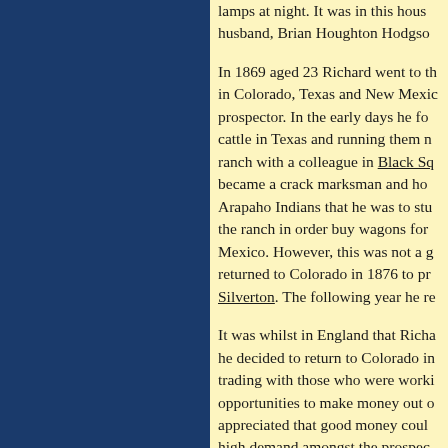lamps at night. It was in this hous husband, Brian Houghton Hodgso
In 1869 aged 23 Richard went to th in Colorado, Texas and New Mexic prospector. In the early days he fo cattle in Texas and running them n ranch with a colleague in Black Sq became a crack marksman and ho Arapaho Indians that he was to stu the ranch in order buy wagons for Mexico. However, this was not a g returned to Colorado in 1876 to pr Silverton. The following year he re
It was whilst in England that Richa he decided to return to Colorado in trading with those who were worki opportunities to make money out o appreciated that good money coul high demand amongst the prospec horses could be bought cheaply in seized the opportunity. In early 18 for Colorado driving a large herd o who threatened to steal all the hor Leadville. Richard sold the horses